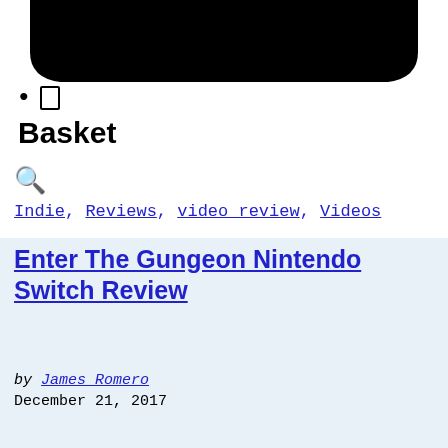[Figure (illustration): Large black shopping basket / cart icon, showing the bottom curved bowl shape of a basket icon at the top of the page]
• □
Basket
🔍
Indie, Reviews, video review, Videos
Enter The Gungeon Nintendo Switch Review
by James Romero
December 21, 2017